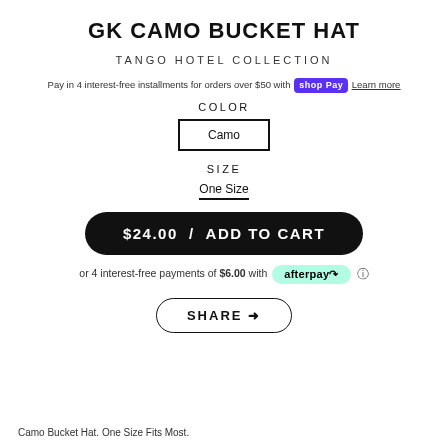GK CAMO BUCKET HAT
TANGO HOTEL COLLECTION
Pay in 4 interest-free installments for orders over $50 with shop Pay Learn more
COLOR
Camo
SIZE
One Size
$24.00  /  ADD TO CART
or 4 interest-free payments of $6.00 with afterpay ⓘ
SHARE
Camo Bucket Hat. One Size Fits Most.